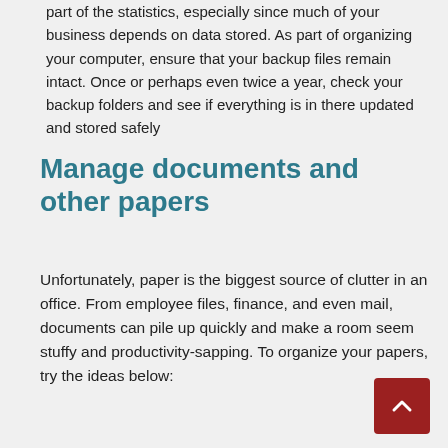part of the statistics, especially since much of your business depends on data stored. As part of organizing your computer, ensure that your backup files remain intact. Once or perhaps even twice a year, check your backup folders and see if everything is in there updated and stored safely
Manage documents and other papers
Unfortunately, paper is the biggest source of clutter in an office. From employee files, finance, and even mail, documents can pile up quickly and make a room seem stuffy and productivity-sapping. To organize your papers, try the ideas below: